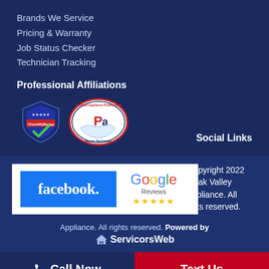Brands We Service
Pricing & Warranty
Job Status Checker
Technician Tracking
Professional Affiliations
[Figure (logo): CheckMyBadge shield logo with green checkmark]
[Figure (logo): Certified Appliance Professional Pa Master Technician oval logo]
Social Links
[Figure (logo): Facebook logo - blue background with white bold text 'facebook.']
[Figure (logo): Google Reviews logo with 5 gold stars]
© Copyright 2022 Oak Valley Appliance. All rights reserved. Powered by ServicorsWeb
Call Now
Text Us